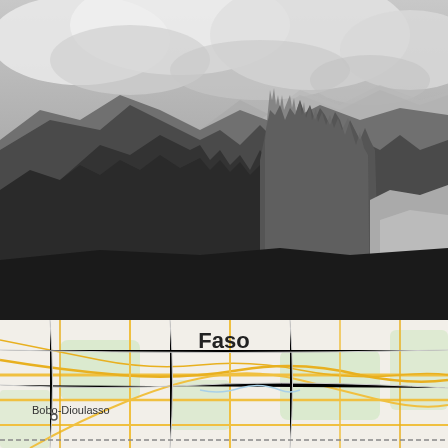[Figure (photo): Black and white landscape photograph showing mountainous terrain with rocky peaks, dense vegetation/forest on slopes, tall grass in the foreground, cloudy sky above. Dramatic mountain ridge scene.]
[Figure (map): Partial street/road map showing the region around Bobo-Dioulasso in Burkina Faso. Road network visible with yellow roads on beige/green background. Text 'Faso' displayed prominently. City label 'Bobo-Dioulasso' with a dot marker visible on the left side.]